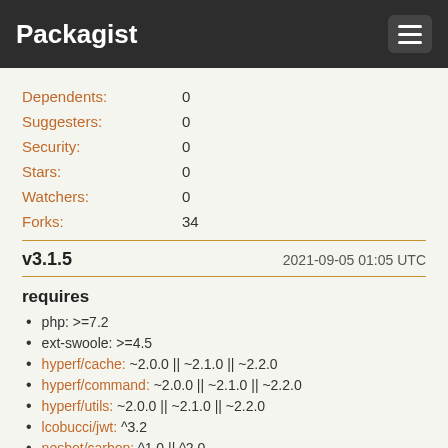Packagist
| Label | Value |
| --- | --- |
| Dependents: | 0 |
| Suggesters: | 0 |
| Security: | 0 |
| Stars: | 0 |
| Watchers: | 0 |
| Forks: | 34 |
v3.1.5    2021-09-05 01:05 UTC
requires
php: >=7.2
ext-swoole: >=4.5
hyperf/cache: ~2.0.0 || ~2.1.0 || ~2.2.0
hyperf/command: ~2.0.0 || ~2.1.0 || ~2.2.0
hyperf/utils: ~2.0.0 || ~2.1.0 || ~2.2.0
lcobucci/jwt: ^3.2
nesbot/carbon: ^1.0 || ^2.0